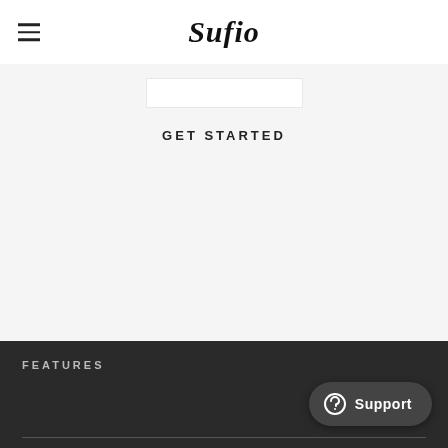Sufio
GET STARTED
FEATURES
Support